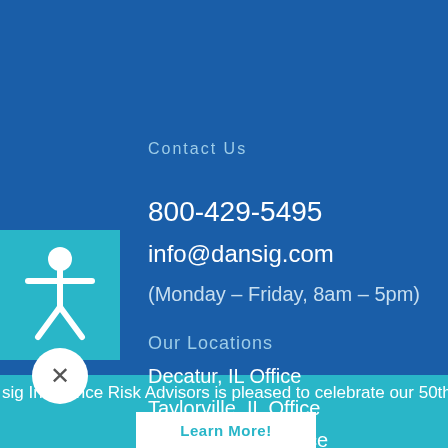Contact Us
800-429-5495
info@dansig.com
(Monday – Friday, 8am – 5pm)
Our Locations
Decatur, IL Office
Taylorville, IL Office
Shelbyville, IL Office
Macomb, IL Office
sig Insurance Risk Advisors is pleased to celebrate our 50th
Learn More!